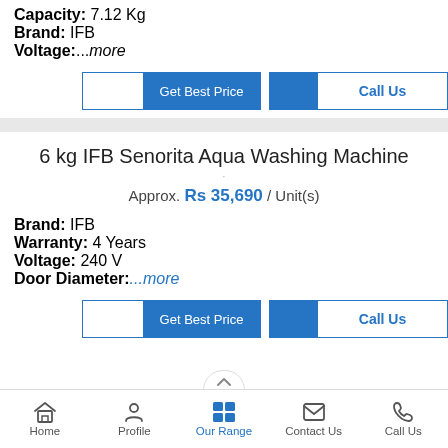Capacity: 7.12 Kg
Brand: IFB
Voltage: ...more
Get Best Price | Call Us (buttons)
6 kg IFB Senorita Aqua Washing Machine
Approx. Rs 35,690 / Unit(s)
Brand: IFB
Warranty: 4 Years
Voltage: 240 V
Door Diameter: ...more
Get Best Price | Call Us (buttons)
Home | Profile | Our Range | Contact Us | Call Us